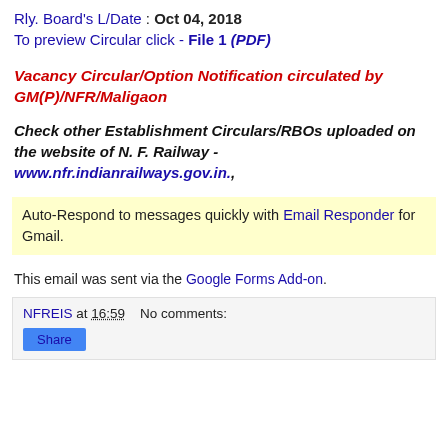Rly. Board's L/Date : Oct 04, 2018
To preview Circular click - File 1 (PDF)
Vacancy Circular/Option Notification circulated by GM(P)/NFR/Maligaon
Check other Establishment Circulars/RBOs uploaded on the website of N. F. Railway - www.nfr.indianrailways.gov.in.,
Auto-Respond to messages quickly with Email Responder for Gmail.
This email was sent via the Google Forms Add-on.
NFREIS at 16:59    No comments: